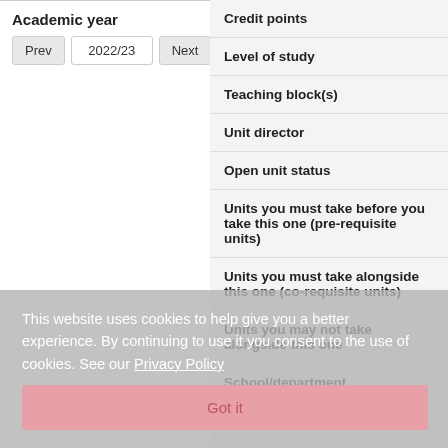Academic year
Prev  2022/23  Next
| Credit points |
| Level of study |
| Teaching block(s) |
| Unit director |
| Open unit status |
| Units you must take before you take this one (pre-requisite units) |
| Units you must take alongside this one (co-requisite units) |
| Units you may not take alongside this one |
| School/department |
| Faculty |
This website uses cookies to help give you a better experience. By continuing to use it you consent to the use of cookies. See our Privacy Policy
Got it